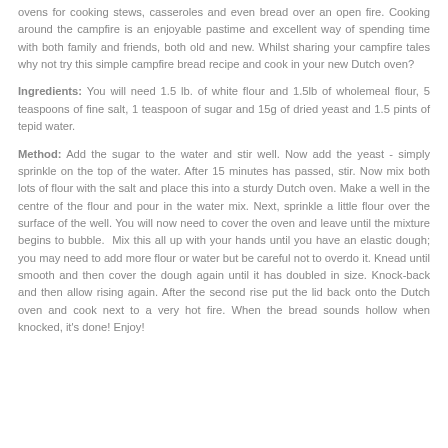ovens for cooking stews, casseroles and even bread over an open fire. Cooking around the campfire is an enjoyable pastime and excellent way of spending time with both family and friends, both old and new. Whilst sharing your campfire tales why not try this simple campfire bread recipe and cook in your new Dutch oven?
Ingredients: You will need 1.5 lb. of white flour and 1.5lb of wholemeal flour, 5 teaspoons of fine salt, 1 teaspoon of sugar and 15g of dried yeast and 1.5 pints of tepid water.
Method: Add the sugar to the water and stir well. Now add the yeast - simply sprinkle on the top of the water. After 15 minutes has passed, stir. Now mix both lots of flour with the salt and place this into a sturdy Dutch oven. Make a well in the centre of the flour and pour in the water mix. Next, sprinkle a little flour over the surface of the well. You will now need to cover the oven and leave until the mixture begins to bubble. Mix this all up with your hands until you have an elastic dough; you may need to add more flour or water but be careful not to overdo it. Knead until smooth and then cover the dough again until it has doubled in size. Knock-back and then allow rising again. After the second rise put the lid back onto the Dutch oven and cook next to a very hot fire. When the bread sounds hollow when knocked, it's done! Enjoy!